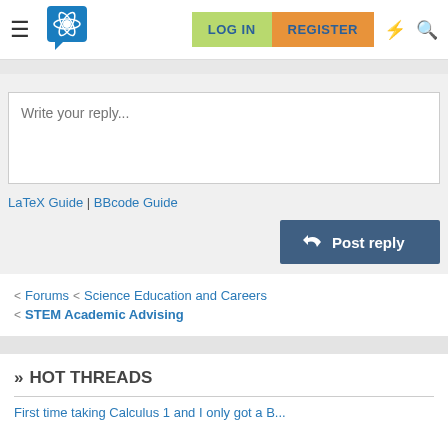LOG IN | REGISTER
Write your reply...
LaTeX Guide | BBcode Guide
Post reply
< Forums < Science Education and Careers < STEM Academic Advising
» HOT THREADS
First time taking Calculus 1 and I only got a B...